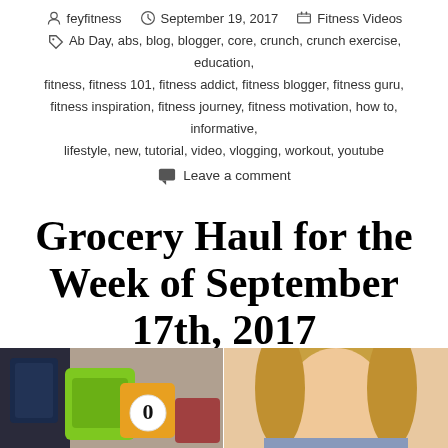feyfitness   September 19, 2017   Fitness Videos
Ab Day, abs, blog, blogger, core, crunch, crunch exercise, education, fitness, fitness 101, fitness addict, fitness blogger, fitness guru, fitness inspiration, fitness journey, fitness motivation, how to, informative, lifestyle, new, tutorial, video, vlogging, workout, youtube
Leave a comment
Grocery Haul for the Week of September 17th, 2017
[Figure (photo): Split image: left side shows grocery items including a bright green package and orange item with a '0' label; right side shows a woman with blonde hair. Both partially cropped at bottom of page.]